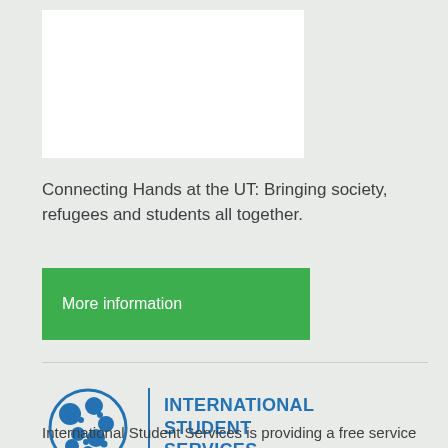[Figure (photo): White rectangular image placeholder at top of page]
Connecting Hands at the UT: Bringing society, refugees and students all together.
More information
[Figure (logo): International Student Services logo: blue circular globe/network icon on left, vertical blue divider line, then bold blue text reading INTERNATIONAL STUDENT SERVICES]
International Student Services is providing a free service platform for international students to get information